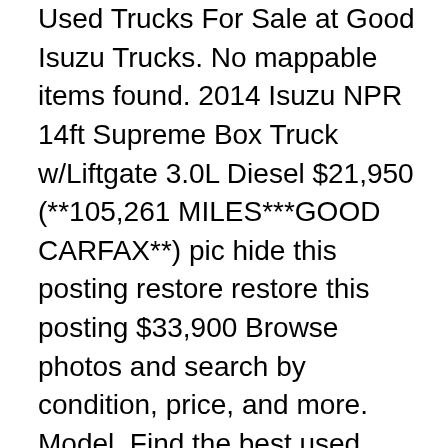Used Trucks For Sale at Good Isuzu Trucks. No mappable items found. 2014 Isuzu NPR 14ft Supreme Box Truck w/Liftgate 3.0L Diesel $21,950 (**105,261 MILES***GOOD CARFAX**) pic hide this posting restore restore this posting $33,900 Browse photos and search by condition, price, and more. Model. Find the best used Pickup Trucks near you. 2019 Winnebago Horizon. Buy and sell locally. Box Trucks are easily identifiable by the large boxy metal structures sitting atop the chassis. Class A Gas RVs; Class A Diesel RVs; ... Fort Worth, TX ; RVs. Condition (Select 1 or more) Used (187) Category. Browse photos and search by condition, price, and more. close fullscreen. Used box trucks for sale. See good deals, great deals and more on Used Trucks. Browse photos and search by condition, price, and more. Browse photos and search by condition, price, and more. Box Truck and Cube Truck Features. Browse photos and search by condition, price, and more. Trucks (187) Application. Browse photos and search by condition, price, and more. Click on any of the Isuzu NPR units shown below to review each unit's details, including